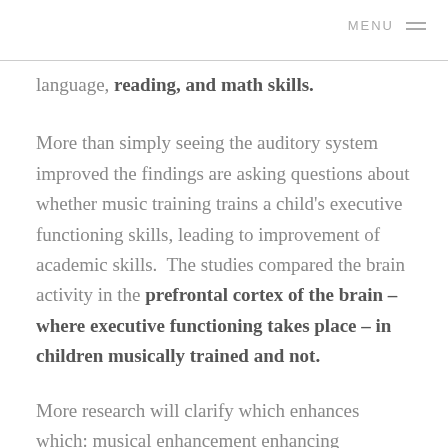MENU
language, reading, and math skills.
More than simply seeing the auditory system improved the findings are asking questions about whether music training trains a child's executive functioning skills, leading to improvement of academic skills.  The studies compared the brain activity in the prefrontal cortex of the brain – where executive functioning takes place – in children musically trained and not.
More research will clarify which enhances which: musical enhancement enhancing executive functioning, or vice versa, but early implications are towards the former.